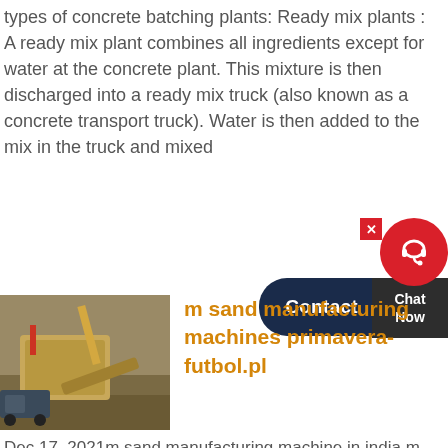types of concrete batching plants: Ready mix plants : A ready mix plant combines all ingredients except for water at the concrete plant. This mixture is then discharged into a ready mix truck (also known as a concrete transport truck). Water is then added to the mix in the truck and mixed
[Figure (other): Chat widget with contact button, chat now button, close X, and avatar circle icon on red background]
[Figure (photo): Photo of a sand manufacturing machine / construction equipment at a site]
m sand manufacturing machines primavera-futbol.pl
Dec 17, 2021m sand manufacturing machine in india m sand manufacturing machine pakistan The mpl is the professional mining equipments manufacturer in the world,